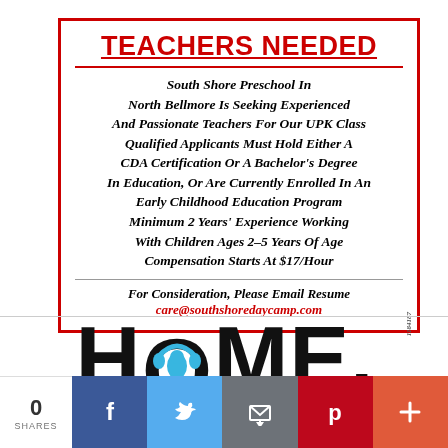TEACHERS NEEDED
South Shore Preschool In North Bellmore Is Seeking Experienced And Passionate Teachers For Our UPK Class Qualified Applicants Must Hold Either A CDA Certification Or A Bachelor's Degree In Education, Or Are Currently Enrolled In An Early Childhood Education Program Minimum 2 Years' Experience Working With Children Ages 2–5 Years Of Age Compensation Starts At $17/Hour
For Consideration, Please Email Resume care@southshoredaycamp.com
[Figure (logo): Long Island HOME logo with headphone icon incorporated into the letter O]